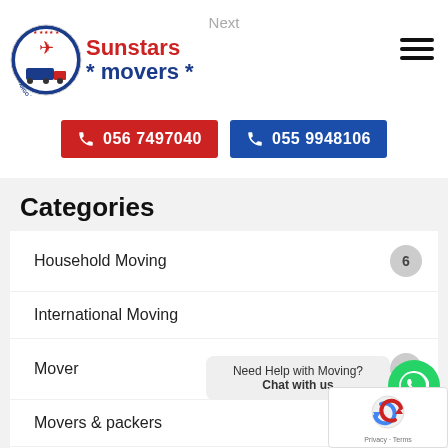Next
[Figure (logo): Sunstars Movers logo with circular badge containing airplane and truck imagery, red and blue brand text]
056 7497040
055 9948106
Categories
Household Moving — 6
International Moving
Mover — 18
Movers & packers
Relocation Moving
Need Help with Moving?
Chat with us
[Figure (logo): WhatsApp green circle button with white phone icon]
[Figure (other): reCAPTCHA badge with Privacy and Terms text]